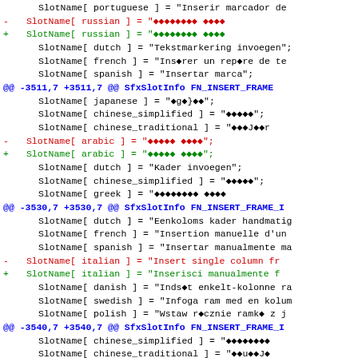Code diff showing SlotName localization entries for various languages including portuguese, russian, dutch, french, spanish, japanese, chinese_simplified, chinese_traditional, arabic, greek, italian, danish, swedish, polish, turkish with diff markers @@ -3511,7 +3511,7 @@, @@ -3530,7 +3530,7 @@, @@ -3540,7 +3540,7 @@